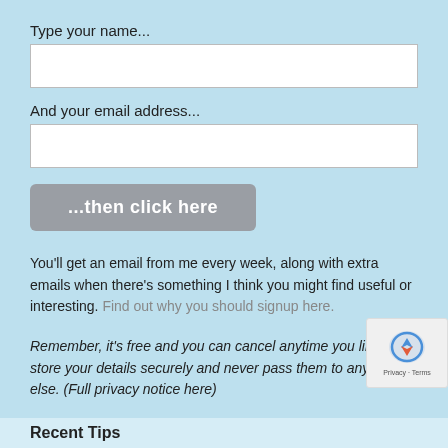Type your name...
[Figure (other): Empty text input field for name]
And your email address...
[Figure (other): Empty text input field for email address]
[Figure (other): Button labeled '...then click here']
You'll get an email from me every week, along with extra emails when there's something I think you might find useful or interesting. Find out why you should signup here.
Remember, it's free and you can cancel anytime you like. We'll store your details securely and never pass them to anyone else. (Full privacy notice here)
Recent Tips